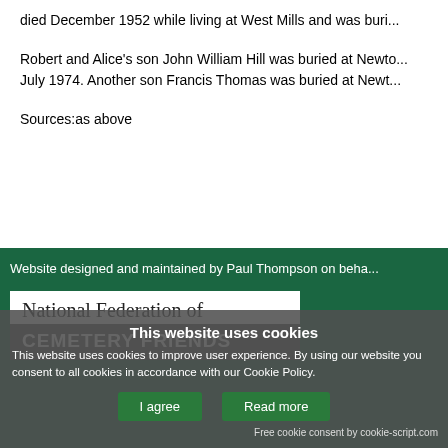died December 1952 while living at West Mills and was buri...
Robert and Alice's son John William Hill was buried at Newt... July 1974. Another son Francis Thomas was buried at Newt...
Sources:as above
Website designed and maintained by Paul Thompson on beha...
[Figure (logo): National Federation of CEMETERY FRIENDS logo, white background with serif text on top and bold white text on grey background below]
This website uses cookies
This website uses cookies to improve user experience. By using our website you consent to all cookies in accordance with our Cookie Policy.
I agree  Read more
Free cookie consent by cookie-script.com